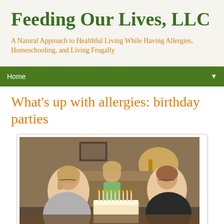Feeding Our Lives, LLC
A Natural Approach to Healthful Living While Having Allergies, Homeschooling, and Living Frugally
Home
What's up with allergies: birthday parties
[Figure (photo): Two women and a young child around a birthday cake with lit candles in a living room setting. One woman holds the cake while the child looks at it and an older woman smiles.]